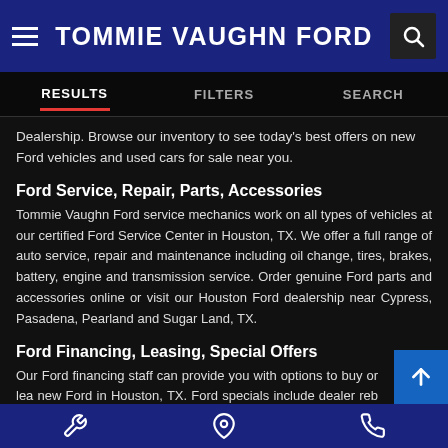TOMMIE VAUGHN FORD
RESULTS  FILTERS  SEARCH
Dealership. Browse our inventory to see today's best offers on new Ford vehicles and used cars for sale near you.
Ford Service, Repair, Parts, Accessories
Tommie Vaughn Ford service mechanics work on all types of vehicles at our certified Ford Service Center in Houston, TX. We offer a full range of auto service, repair and maintenance including oil change, tires, brakes, battery, engine and transmission service. Order genuine Ford parts and accessories online or visit our Houston Ford dealership near Cypress, Pasadena, Pearland and Sugar Land, TX.
Ford Financing, Leasing, Special Offers
Our Ford financing staff can provide you with options to buy or lea new Ford in Houston, TX. Ford specials include dealer reb manufacturer incentives and Ford lease deals to save money. We
Service icon | Location icon | Phone icon